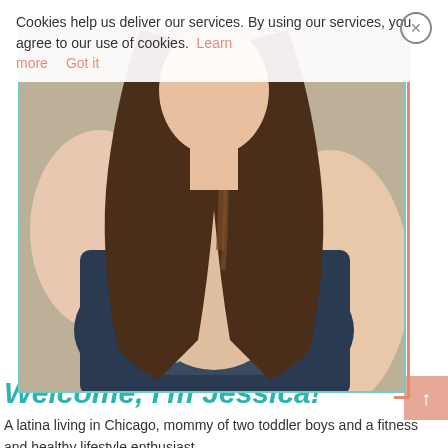Cookies help us deliver our services. By using our services, you agree to our use of cookies. Learn more   Got it
[Figure (photo): A woman with long brown hair wearing a dark navy sports bra with 'SHARK' text, arms crossed, photographed in a gym setting.]
Welcome, I'm Jessica!
A latina living in Chicago, mommy of two toddler boys and a fitness and healthy lifestyle enthusiast.